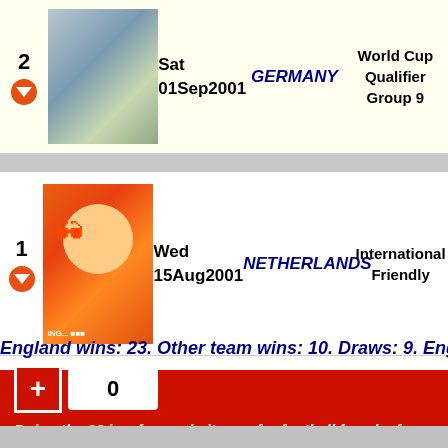| # | Image | Date | Country | Competition |
| --- | --- | --- | --- | --- |
| 2 | [image] | Sat
01Sep2001 | GERMANY | World Cup Qualifier
Group 9 |
| 1 | [image] | Wed
15Aug2001 | NETHERLANDS | International Friendly |
England wins: 23. Other team wins: 10. Draws: 9. England Goals: 7...
0
Doing the 92 is a free website run for football fans by fo...
Please contact us here if you've got any questions, idea...